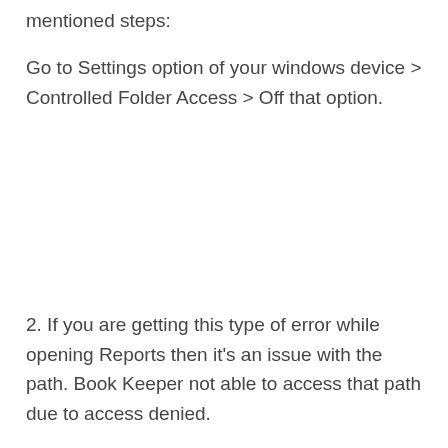mentioned steps:
Go to Settings option of your windows device > Controlled Folder Access > Off that option.
2. If you are getting this type of error while opening Reports then it's an issue with the path. Book Keeper not able to access that path due to access denied.
To resolve that error you need to check the path Book